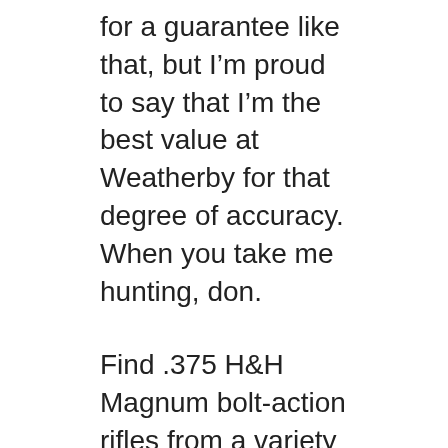for a guarantee like that, but I'm proud to say that I'm the best value at Weatherby for that degree of accuracy. When you take me hunting, don.
Find .375 H&H Magnum bolt-action rifles from a variety of manufacturers. Choose the lowest price from our multiple warehouses. Find .375 H&H Magnum bolt-action rifles from a variety of manufacturers. Choose the lowest price from our multiple warehouses. Weatherby Vanguard Synthetic Bolt Action Rifle .37... Our Low Price $624.60